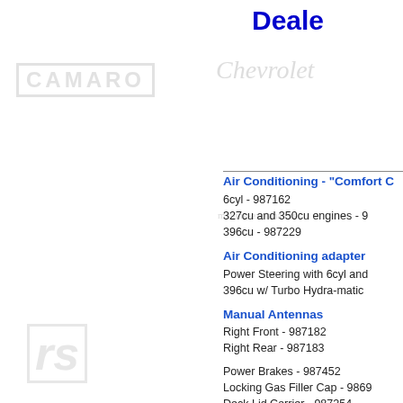Deale
[Figure (logo): CAMARO text logo watermark, left side]
[Figure (logo): Chevrolet script logo watermark]
[Figure (logo): mailing-explanations watermark text]
[Figure (logo): SUB watermark badge]
[Figure (logo): RS italic logo watermark, left side]
[Figure (logo): 318 badge watermark]
[Figure (logo): 307 badge watermark, left side]
[Figure (logo): Camaro script watermark lower center]
Air Conditioning - "Comfort C
6cyl - 987162
327cu and 350cu engines - 9
396cu - 987229
Air Conditioning adapter
Power Steering with 6cyl and
396cu w/ Turbo Hydra-matic
Manual Antennas
Right Front - 987182
Right Rear - 987183
Power Brakes - 987452
Locking Gas Filler Cap - 9869
Deck Lid Carrier - 987254
Electric Clock, console moun
Compass - 987457
Rear Window Defroster - co